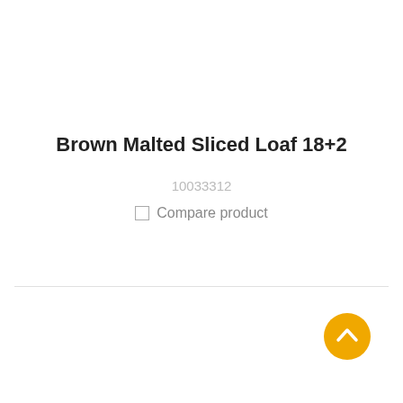Brown Malted Sliced Loaf 18+2
10033312
☐ Compare product
[Figure (other): Orange circular scroll-to-top button with upward chevron arrow icon]